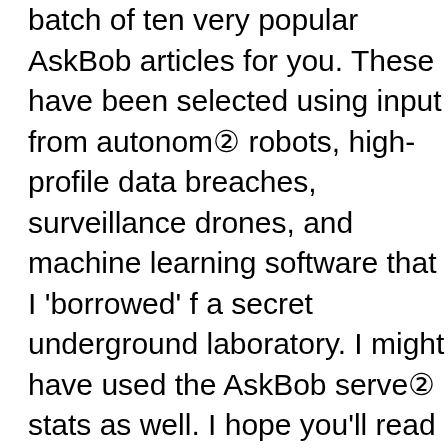batch of ten very popular AskBob articles for you. These have been selected using input from autonomous robots, high-profile data breaches, surveillance drones, and machine learning software that I 'borrowed' from a secret underground laboratory. I might have used the AskBob server stats as well. I hope you'll read each one, leave your own comments, and share them with your Email, Facebook and Twitter friends.